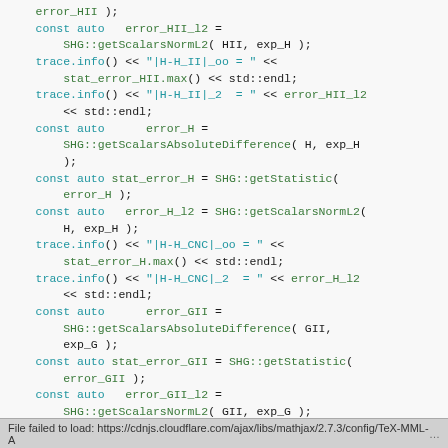[Figure (screenshot): C++ source code snippet showing error computation using SHG functions for HII, H, GII, and G variables, with trace.info() logging statements. Keywords and method calls are highlighted in teal/blue-green, string literals in teal.]
File failed to load: https://cdnjs.cloudflare.com/ajax/libs/mathjax/2.7.3/config/TeX-MML-AM...